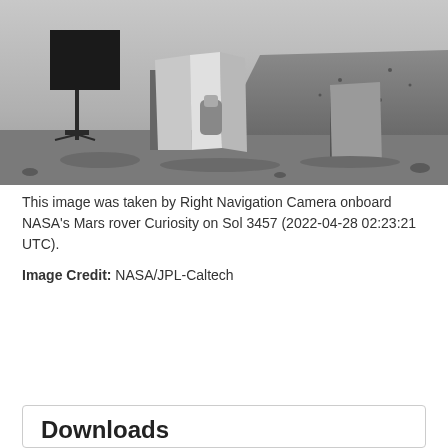[Figure (photo): Black and white photo taken by NASA's Curiosity rover on Mars showing rover equipment and instruments in the foreground with a rocky Martian hill in the background against a grey sky.]
This image was taken by Right Navigation Camera onboard NASA's Mars rover Curiosity on Sol 3457 (2022-04-28 02:23:21 UTC).
Image Credit: NASA/JPL-Caltech
ENLARGE
Downloads